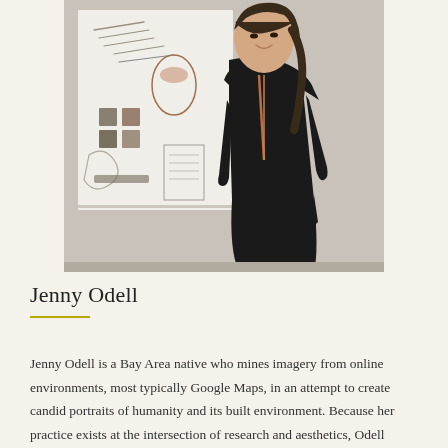[Figure (photo): A woman with dark hair and bangs stands smiling in front of a white wall with large printed design sketches/mood board pinned to it. She wears a black sleeveless jumpsuit with a copper/rose-gold necklace.]
Jenny Odell
Jenny Odell is a Bay Area native who mines imagery from online environments, most typically Google Maps, in an attempt to create candid portraits of humanity and its built environment. Because her practice exists at the intersection of research and aesthetics, Odell